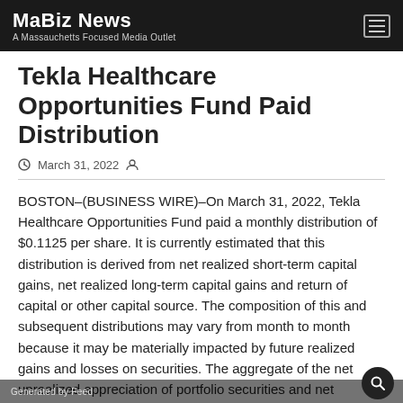MaBiz News — A Massauchetts Focused Media Outlet
Tekla Healthcare Opportunities Fund Paid Distribution
March 31, 2022
BOSTON–(BUSINESS WIRE)–On March 31, 2022, Tekla Healthcare Opportunities Fund paid a monthly distribution of $0.1125 per share. It is currently estimated that this distribution is derived from net realized short-term capital gains, net realized long-term capital gains and return of capital or other capital source. The composition of this and subsequent distributions may vary from month to month because it may be materially impacted by future realized gains and losses on securities. The aggregate of the net unrealized appreciation of portfolio securities and net